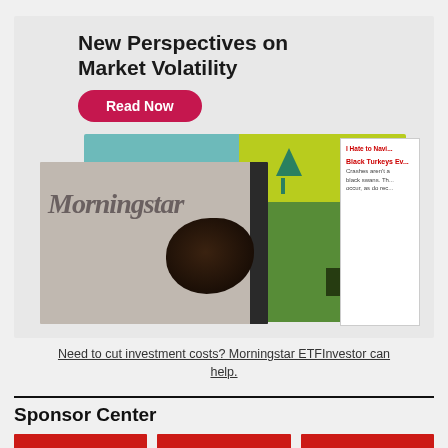[Figure (illustration): Morningstar advertisement box with title 'New Perspectives on Market Volatility', a pink 'Read Now' button, and overlapping magazine covers including a Morningstar publication]
Need to cut investment costs? Morningstar ETFInvestor can help.
Sponsor Center
[Figure (logo): Morningstar Personal Finance red banner card (left)]
[Figure (logo): Morningstar Personal Finance red banner card (center)]
[Figure (logo): Morningstar Personal Finance red banner card (right)]